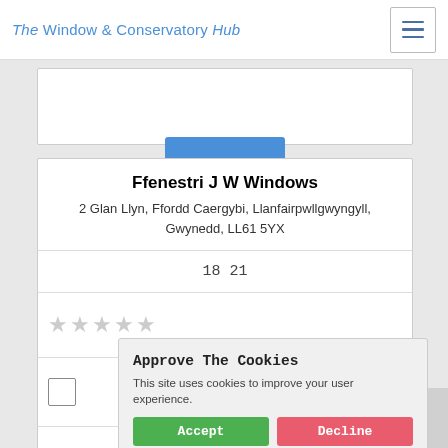The Window & Conservatory Hub
Ffenestri J W Windows
2 Glan Llyn, Ffordd Caergybi, Llanfairpwllgwyngyll, Gwynedd, LL61 5YX
18 21
Approve The Cookies
This site uses cookies to improve your user experience.
Accept | Decline
Cookie policy